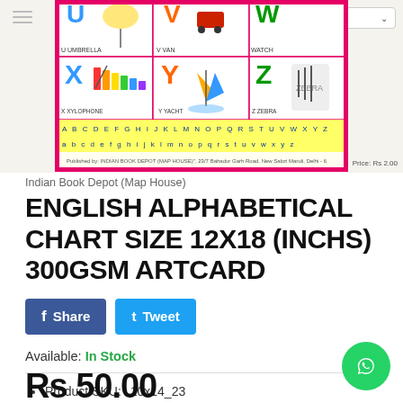[Figure (photo): English Alphabetical Chart showing letters X, Y, Z with illustrations of xylophone, yacht, and zebra, with alphabet rows at bottom. Pink border. Partially visible top portion.]
Indian Book Depot (Map House)
ENGLISH ALPHABETICAL CHART SIZE 12X18 (INCHS) 300GSM ARTCARD
f Share   t Tweet
Available: In Stock
Product SKU:    10x14_23
Category:    12X18 CHARTS, Educational Charts, Ho...
Rs 50.00